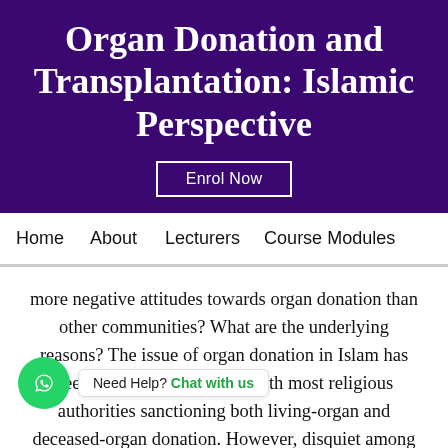Organ Donation and Transplantation: Islamic Perspective
Enrol Now
Home  About  Lecturers  Course Modules
more negative attitudes towards organ donation than other communities? What are the underlying reasons? The issue of organ donation in Islam has been debated for decades, with most religious authorities sanctioning both living-organ and deceased-organ donation. However, disquiet among [Need Help? Chat with us] the compatibility of organ donation with their faith remains, especially in relation to deceased-organ donation. This remains